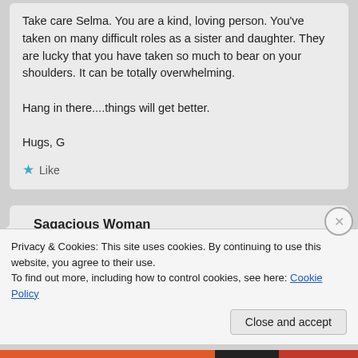Take care Selma. You are a kind, loving person. You've taken on many difficult roles as a sister and daughter. They are lucky that you have taken so much to bear on your shoulders. It can be totally overwhelming.

Hang in there....things will get better.

Hugs, G
Like
Sagacious Woman
September 1, 2008 at 3:35 am
Privacy & Cookies: This site uses cookies. By continuing to use this website, you agree to their use.
To find out more, including how to control cookies, see here: Cookie Policy